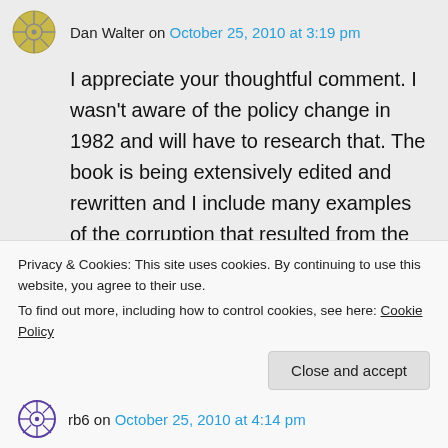Dan Walter on October 25, 2010 at 3:19 pm
I appreciate your thoughtful comment. I wasn't aware of the policy change in 1982 and will have to research that. The book is being extensively edited and rewritten and I include many examples of the corruption that resulted from the corporatization of medical academia.

Thanks again,
Privacy & Cookies: This site uses cookies. By continuing to use this website, you agree to their use.
To find out more, including how to control cookies, see here: Cookie Policy
rb6 on October 25, 2010 at 4:14 pm